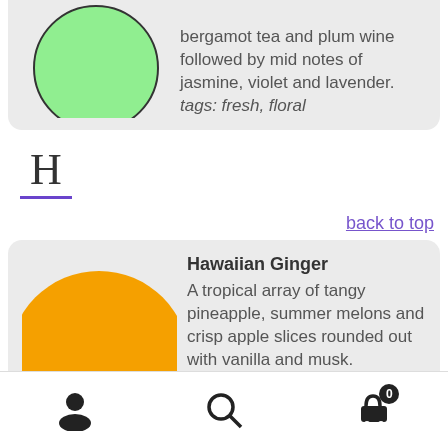[Figure (illustration): Partial product card (top cut off) with green circle image on left, and text on right: bergamot tea and plum wine followed by mid notes of jasmine, violet and lavender. tags: fresh, floral]
bergamot tea and plum wine followed by mid notes of jasmine, violet and lavender. tags: fresh, floral
H
back to top
[Figure (illustration): Product card for Hawaiian Ginger with large orange circle on left. Text: Hawaiian Ginger. A tropical array of tangy pineapple, summer melons and crisp apple slices rounded out with vanilla and musk. tags: fruity (cut off)]
Hawaiian Ginger. A tropical array of tangy pineapple, summer melons and crisp apple slices rounded out with vanilla and musk. tags: fruity